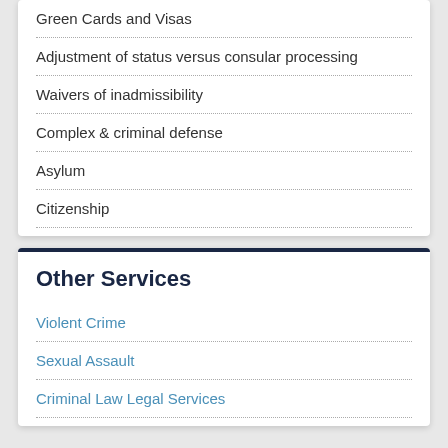Green Cards and Visas
Adjustment of status versus consular processing
Waivers of inadmissibility
Complex & criminal defense
Asylum
Citizenship
Other Services
Violent Crime
Sexual Assault
Criminal Law Legal Services